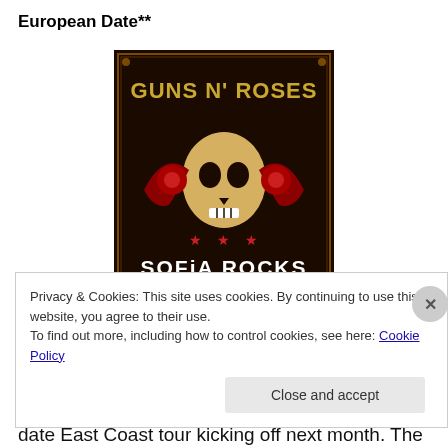European Date**
[Figure (illustration): Guns N' Roses Sofia Rocks 2012 concert poster. Dark background with skull and roses imagery. Text reads: GUNS N' ROSES, SOFIA ROCKS 2012, 7 ЮНИ събота - 8 ЮНИ неделя, 2012, СТАДИОН БЪЛГАРСКА АРМИЯ]
Guns N' Roses (thank you chinesedemocracy.com) have announced a six-date East Coast tour kicking off next month. The dates are below and tickets go on sale
Privacy & Cookies: This site uses cookies. By continuing to use this website, you agree to their use.
To find out more, including how to control cookies, see here: Cookie Policy
Close and accept